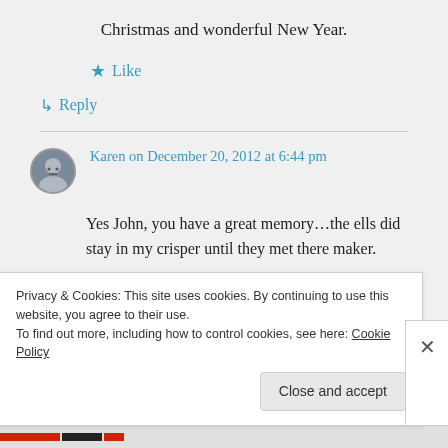Christmas and wonderful New Year.
★ Like
↳ Reply
Karen on December 20, 2012 at 6:44 pm
Yes John, you have a great memory…the ells did stay in my crisper until they met there maker.
Privacy & Cookies: This site uses cookies. By continuing to use this website, you agree to their use.
To find out more, including how to control cookies, see here: Cookie Policy
Close and accept